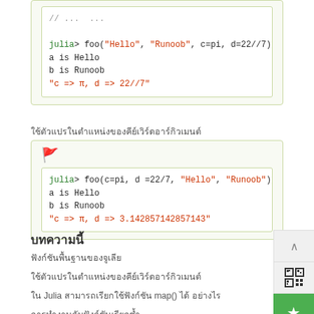[Figure (screenshot): Code block showing Julia REPL: foo("Hello", "Runoob", c=pi, d=22//7) with output a is Hello, b is Runoob, "c => π, d => 22//7"]
ใช้ตัวแปรในตำแหน่งของคีย์เวิร์ดอาร์กิวเมนต์
[Figure (screenshot): Code block with flag icon showing Julia REPL: foo(c=pi, d =22/7, "Hello", "Runoob") with output a is Hello, b is Runoob, "c => π, d => 3.142857142857143"]
บทความนี้
ฟังก์ชันพื้นฐานของจูเลีย
ใช้ตัวแปรในตำแหน่งของคีย์เวิร์ดอาร์กิวเมนต์
ใน Julia สามารถเรียกใช้ฟังก์ชัน map() ได้ อย่างไร
การทำงานกับฟังก์ชันเรียกซ้ำ
ตัวกรองข้อมูล